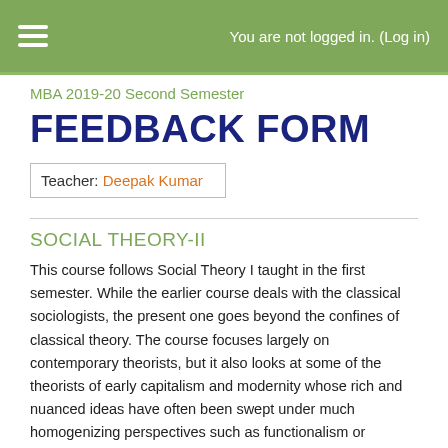You are not logged in. (Log in)
MBA 2019-20 Second Semester
FEEDBACK FORM
Teacher: Deepak Kumar
SOCIAL THEORY-II
This course follows Social Theory I taught in the first semester. While the earlier course deals with the classical sociologists, the present one goes beyond the confines of classical theory. The course focuses largely on contemporary theorists, but it also looks at some of the theorists of early capitalism and modernity whose rich and nuanced ideas have often been swept under much homogenizing perspectives such as functionalism or structuralism etc. However the